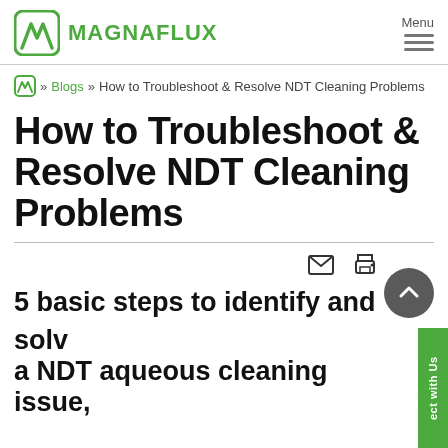[Figure (logo): Magnaflux logo with green icon and green text MAGNAFLUX]
Menu
» Blogs » How to Troubleshoot & Resolve NDT Cleaning Problems
How to Troubleshoot & Resolve NDT Cleaning Problems
5 basic steps to identify and solve a NDT aqueous cleaning issue,